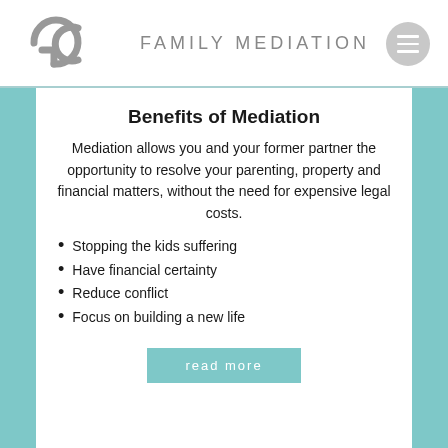[Figure (logo): GC Family Mediation logo with stylized GC letterform in grey and text 'FAMILY MEDIATION' in grey caps, with a grey circle hamburger menu icon top right]
Benefits of Mediation
Mediation allows you and your former partner the opportunity to resolve your parenting, property and financial matters, without the need for expensive legal costs.
Stopping the kids suffering
Have financial certainty
Reduce conflict
Focus on building a new life
read more